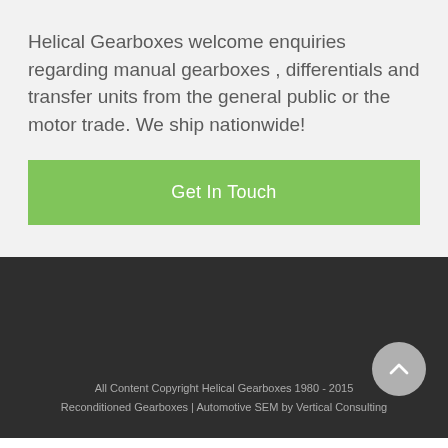Helical Gearboxes welcome enquiries regarding manual gearboxes , differentials and transfer units from the general public or the motor trade. We ship nationwide!
Get In Touch
All Content Copyright Helical Gearboxes 1980 - 2015
Reconditioned Gearboxes | Automotive SEM by Vertical Consulting